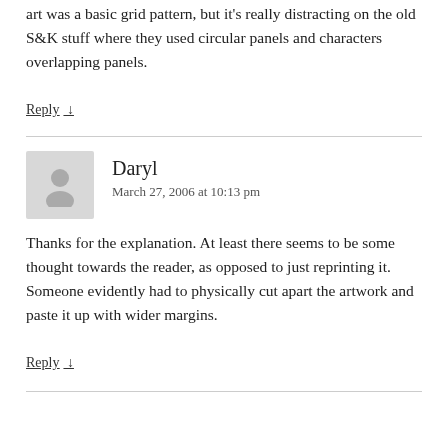sometimes just added gutter space. It's not too bad when the art was a basic grid pattern, but it's really distracting on the old S&K stuff where they used circular panels and characters overlapping panels.
Reply ↓
Daryl
March 27, 2006 at 10:13 pm
Thanks for the explanation. At least there seems to be some thought towards the reader, as opposed to just reprinting it. Someone evidently had to physically cut apart the artwork and paste it up with wider margins.
Reply ↓